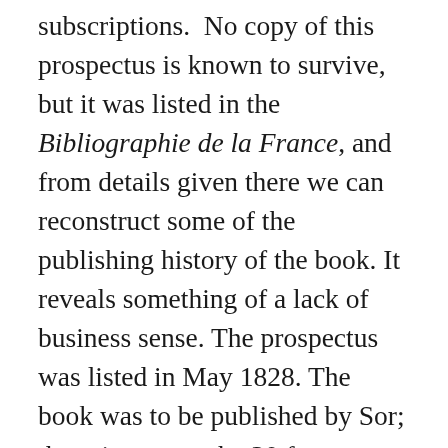subscriptions.  No copy of this prospectus is known to survive, but it was listed in the Bibliographie de la France, and from details given there we can reconstruct some of the publishing history of the book. It reveals something of a lack of business sense. The prospectus was listed in May 1828. The book was to be published by Sor; the price was to be 30 francs, or 15 francs to subscribers; and the subscription list was to be closed on 1 July 1828. Now, from the Bibliographie de la France we also gather that the Méthode itself did not appear until late in 1830, that is over two years later; and the price in the end was 36 francs.  From the number of footnotes